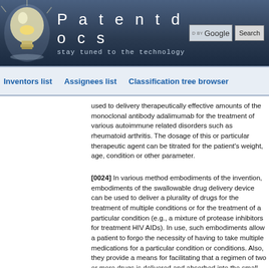[Figure (screenshot): Patentdocs website header with lightbulb logo, site name 'Patentdocs', tagline 'stay tuned to the technology', and Google search box with Search button]
Inventors list   Assignees list   Classification tree browser
used to delivery therapeutically effective amounts of the monoclonal antibody adalimumab for the treatment of various autoimmune related disorders such as rheumatoid arthritis. The dosage of this or particular therapeutic agent can be titrated for the patient's weight, age, condition or other parameter.
[0024] In various method embodiments of the invention, embodiments of the swallowable drug delivery device can be used to deliver a plurality of drugs for the treatment of multiple conditions or for the treatment of a particular condition (e.g., a mixture of protease inhibitors for treatment HIV AIDs). In use, such embodiments allow a patient to forgo the necessity of having to take multiple medications for a particular condition or conditions. Also, they provide a means for facilitating that a regimen of two or more drugs is delivered and absorbed into the small intestine and thus, the blood stream at about the same time. Due to differences in chemical makeup, molecular weight, etc. drugs can be absorbed through the intestinal